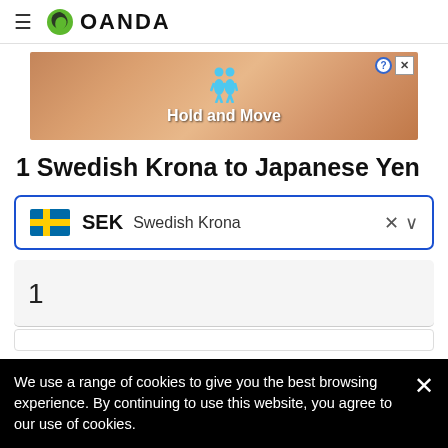[Figure (logo): OANDA logo with hamburger menu icon and green/black circular icon next to OANDA text]
[Figure (photo): Advertisement banner with wood-texture background, two blue cartoon figures, text 'Hold and Move', close and question mark buttons]
1 Swedish Krona to Japanese Yen
SEK  Swedish Krona  × ∨
1
We use a range of cookies to give you the best browsing experience. By continuing to use this website, you agree to our use of cookies.